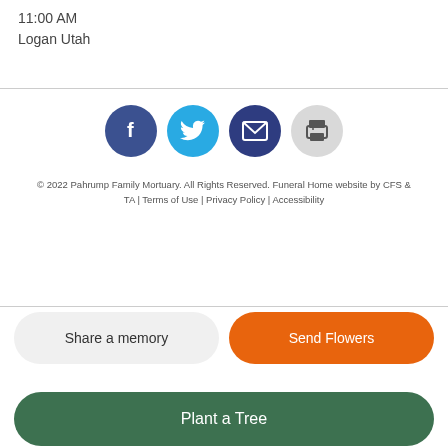11:00 AM
Logan Utah
[Figure (infographic): Four social sharing icons in circles: Facebook (dark blue), Twitter (light blue), Email/envelope (dark navy), Print (light gray)]
© 2022 Pahrump Family Mortuary. All Rights Reserved. Funeral Home website by CFS & TA | Terms of Use | Privacy Policy | Accessibility
Share a memory
Send Flowers
Plant a Tree